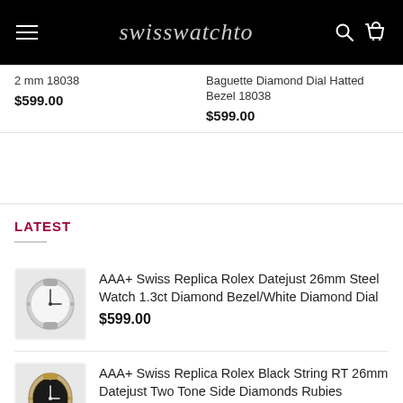swisswatchto
2 mm 18038
$599.00
Baguette Diamond Dial Hatted Bezel 18038
$599.00
LATEST
AAA+ Swiss Replica Rolex Datejust 26mm Steel Watch 1.3ct Diamond Bezel/White Diamond Dial
$599.00
AAA+ Swiss Replica Rolex Black String RT 26mm Datejust Two Tone Side Diamonds Rubies